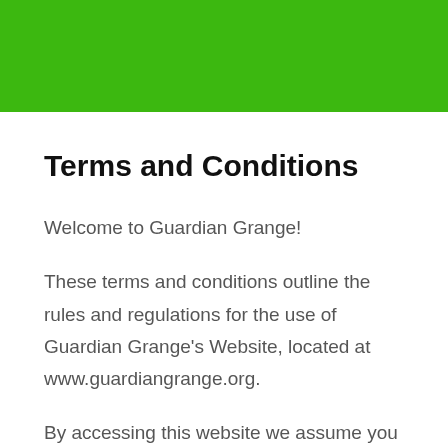[Figure (other): Green banner header background at the top of the page]
Terms and Conditions
Welcome to Guardian Grange!
These terms and conditions outline the rules and regulations for the use of Guardian Grange's Website, located at www.guardiangrange.org.
By accessing this website we assume you accept these terms and conditions. Do not